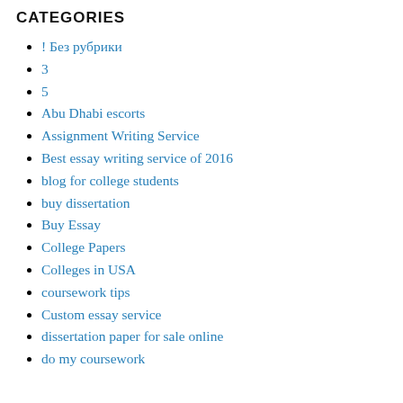CATEGORIES
! Без рубрики
3
5
Abu Dhabi escorts
Assignment Writing Service
Best essay writing service of 2016
blog for college students
buy dissertation
Buy Essay
College Papers
Colleges in USA
coursework tips
Custom essay service
dissertation paper for sale online
do my coursework